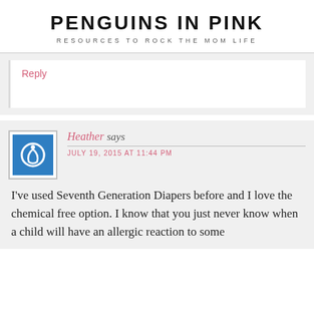PENGUINS IN PINK
RESOURCES TO ROCK THE MOM LIFE
Reply
Heather says
JULY 19, 2015 AT 11:44 PM
I've used Seventh Generation Diapers before and I love the chemical free option. I know that you just never know when a child will have an allergic reaction to some